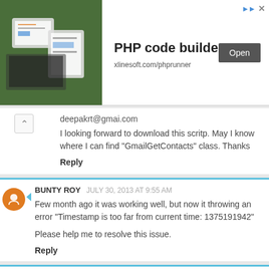[Figure (screenshot): PHP code builder advertisement banner with image of tablets/laptops, title 'PHP code builder', URL 'xlinesoft.com/phprunner', and Open button]
deepakrt@gmai.com
I looking forward to download this scritp. May I know where I can find "GmailGetContacts" class. Thanks
Reply
BUNTY ROY  JULY 30, 2013 AT 9:55 AM
Few month ago it was working well, but now it throwing an error "Timestamp is too far from current time: 1375191942"
Please help me to resolve this issue.
Reply
TESTUSER.TESTING  AUGUST 5, 2013 AT 9:38 AM